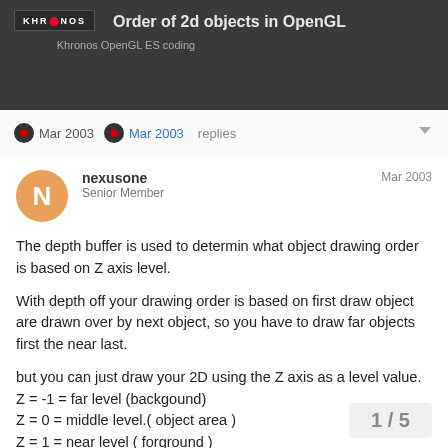Order of 2d objects in OpenGL — Khronos OpenGL ES coding
Mar 2003  Mar 2003  replies
nexusone  Senior Member  Mar 2003
The depth buffer is used to determin what object drawing order is based on Z axis level.
With depth off your drawing order is based on first draw object are drawn over by next object, so you have to draw far objects first the near last.
but you can just draw your 2D using the Z axis as a level value.
Z = -1 = far level (backgound)
Z = 0 = middle level.( object area )
Z = 1 = near level ( forground )
I hope this gives you the idea.
1 / 5